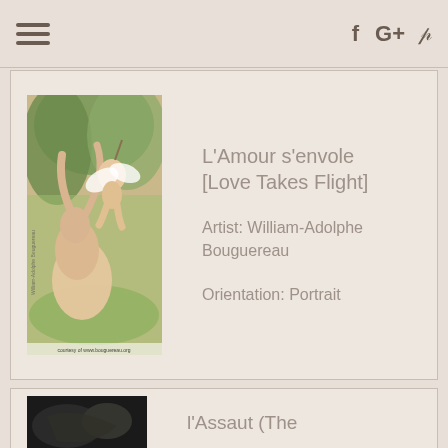Navigation bar with hamburger menu and social icons (Facebook, Google+, Pinterest)
[Figure (photo): Painting: L'Amour s'envole (Love Takes Flight) by William-Adolphe Bouguereau. Shows a nude cherub/Cupid figure flying away from a kneeling woman in a forest setting. Courtesy of www.bouguereau.org]
L'Amour s'envole [Love Takes Flight]
Artist: William-Adolphe Bouguereau
Orientation: Portrait
[Figure (photo): Partially visible second artwork: L'Assaut (The ...) - dark colored painting, partially cropped]
l'Assaut (The